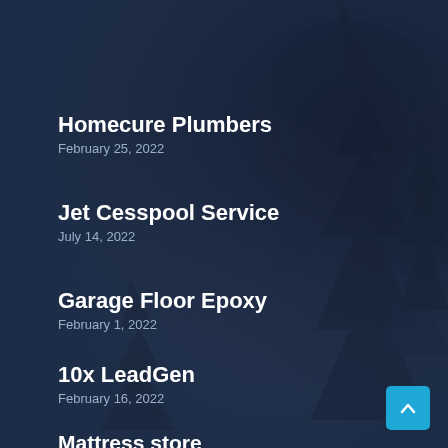[Figure (illustration): Dark navy blue background with fir/pine tree silhouettes, misty forest scene]
Homecure Plumbers
February 25, 2022
Jet Cesspool Service
July 14, 2022
Garage Floor Epoxy
February 1, 2022
10x LeadGen
February 16, 2022
Mattress store
July 5, 2022